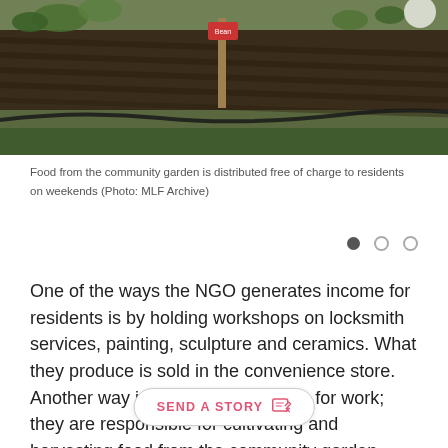[Figure (photo): Community garden with planted rows, wooden stake marker with red label, soil, green plants and black irrigation hose visible]
Food from the community garden is distributed free of charge to residents on weekends (Photo: MLF Archive)
One of the ways the NGO generates income for residents is by holding workshops on locksmith services, painting, sculpture and ceramics. What they produce is sold in the convenience store. Another way is to pay the residents for work; they are responsible for cultivating and harvesting food from the community garden, supervising collective spaces and ensuring the cleanliness and organization of everyone's living pla… moved in September with her 7-year-old daughter, Avery, into one of